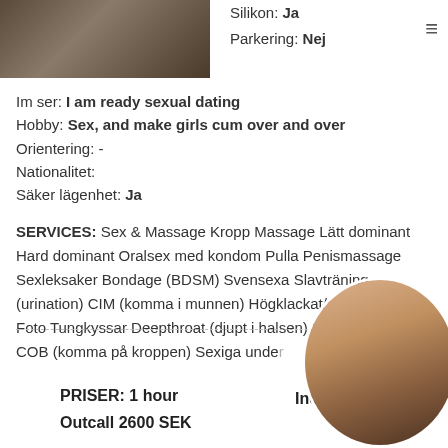[Figure (photo): Thumbnail photo of a person in dark clothing]
Silikon: Ja
Parkering: Nej
Im ser: I am ready sexual dating
Hobby: Sex, and make girls cum over and over
Orientering: -
Nationalitet:
Säker lägenhet: Ja
SERVICES: Sex & Massage Kropp Massage Lätt dominant Hard dominant Oralsex med kondom Pulla Penismassage Sexleksaker Bondage (BDSM) Svensexa Slavträning (urination) CIM (komma i munnen) Högklackat/stövlar Kyss Foto Tungkyssar Deepthroat (djupt i halsen) Fista Duscha til... COB (komma på kroppen) Sexiga unde...
PRISER: 1 hour    Incall 2000 SEK
Outcall 2600 SEK
[Figure (photo): Circular cropped photo showing torso]